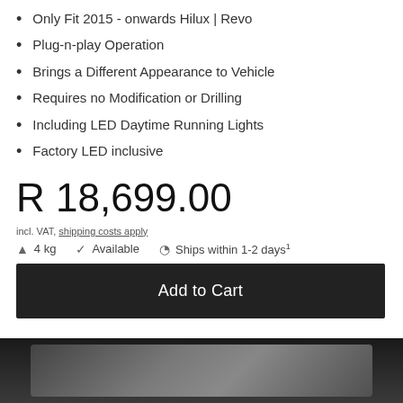Only Fit 2015 - onwards Hilux | Revo
Plug-n-play Operation
Brings a Different Appearance to Vehicle
Requires no Modification or Drilling
Including LED Daytime Running Lights
Factory LED inclusive
R 18,699.00
incl. VAT, shipping costs apply
4 kg   Available   Ships within 1-2 days1
Add to Cart
[Figure (photo): Product photo of automotive LED headlight component against dark background]